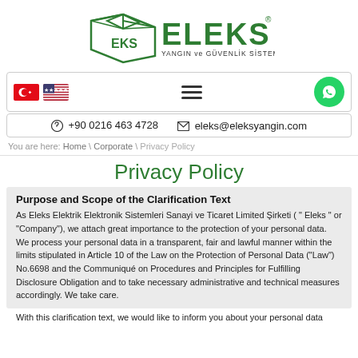[Figure (logo): Eleks Yangin ve Guvenlik Sistemleri logo with green box icon and text]
[Figure (infographic): Navigation bar with Turkish and US flags, hamburger menu, and WhatsApp button]
+90 0216 463 4728   eleks@eleksyangin.com
You are here: Home \ Corporate \ Privacy Policy
Privacy Policy
Purpose and Scope of the Clarification Text
As Eleks Elektrik Elektronik Sistemleri Sanayi ve Ticaret Limited Şirketi ( " Eleks " or "Company"), we attach great importance to the protection of your personal data. We process your personal data in a transparent, fair and lawful manner within the limits stipulated in Article 10 of the Law on the Protection of Personal Data ("Law") No.6698 and the Communiqué on Procedures and Principles for Fulfilling Disclosure Obligation and to take necessary administrative and technical measures accordingly. We take care.
With this clarification text, we would like to inform you about your personal data